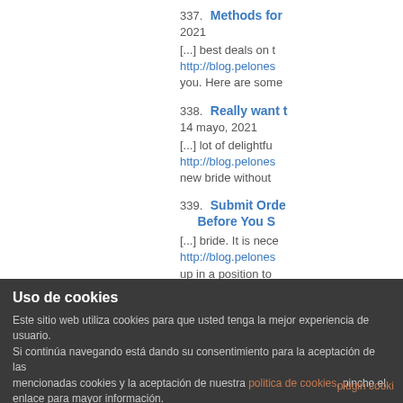337. Methods for... 2021 [...] best deals on t http://blog.pelones... you. Here are some
338. Really want t 14 mayo, 2021 [...] lot of delightfu http://blog.pelones... new bride without
339. Submit Orde... Before You S [...] bride. It is nece http://blog.pelones... up in a position to
Uso de cookies
Este sitio web utiliza cookies para que usted tenga la mejor experiencia de usuario. Si continúa navegando está dando su consentimiento para la aceptación de las mencionadas cookies y la aceptación de nuestra politica de cookies, pinche el enlace para mayor información.
ACEPTAR
plugin cooki